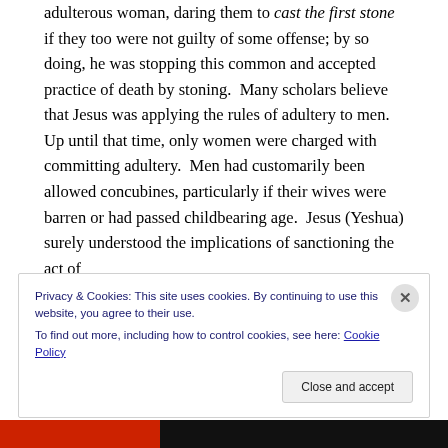adulterous woman, daring them to cast the first stone if they too were not guilty of some offense; by so doing, he was stopping this common and accepted practice of death by stoning.  Many scholars believe that Jesus was applying the rules of adultery to men.  Up until that time, only women were charged with committing adultery.  Men had customarily been allowed concubines, particularly if their wives were barren or had passed childbearing age.  Jesus (Yeshua) surely understood the implications of sanctioning the act of
Privacy & Cookies: This site uses cookies. By continuing to use this website, you agree to their use.
To find out more, including how to control cookies, see here: Cookie Policy
Close and accept